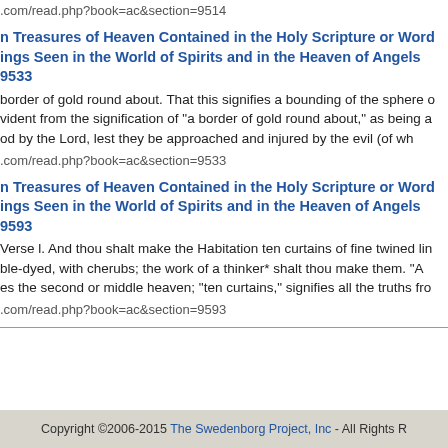.com/read.php?book=ac&section=9514
n Treasures of Heaven Contained in the Holy Scripture or Word ings Seen in the World of Spirits and in the Heaven of Angels 9533
border of gold round about. That this signifies a bounding of the sphere o vident from the signification of "a border of gold round about," as being a od by the Lord, lest they be approached and injured by the evil (of wh
.com/read.php?book=ac&section=9533
n Treasures of Heaven Contained in the Holy Scripture or Word ings Seen in the World of Spirits and in the Heaven of Angels 9593
Verse l. And thou shalt make the Habitation ten curtains of fine twined lin ble-dyed, with cherubs; the work of a thinker* shalt thou make them. "A es the second or middle heaven; "ten curtains," signifies all the truths fro
.com/read.php?book=ac&section=9593
Copyright ©2006-2015 The Swedenborg Project, Inc - All Rights R